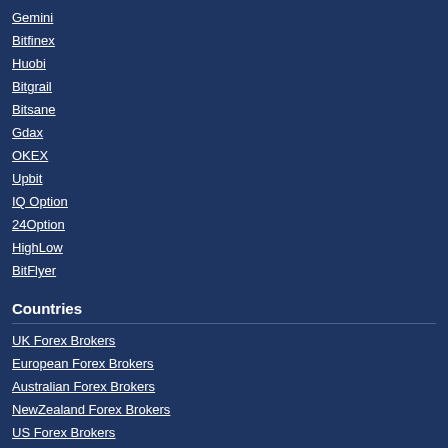Gemini
Bitfinex
Huobi
Bitgrail
Bitsane
Gdax
OKEX
Upbit
IQ Option
24Option
HighLow
BitFlyer
Countries
UK Forex Brokers
European Forex Brokers
Australian Forex Brokers
NewZealand Forex Brokers
US Forex Brokers
Swiss Forex Brokers
Asian Forex Brokers
Indian Forex Brokers